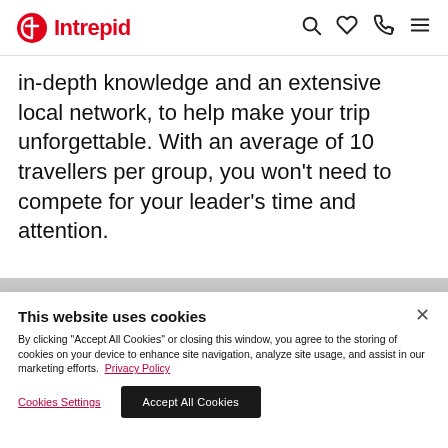Intrepid
in-depth knowledge and an extensive local network, to help make your trip unforgettable. With an average of 10 travellers per group, you won't need to compete for your leader's time and attention.
This website uses cookies
By clicking "Accept All Cookies" or closing this window, you agree to the storing of cookies on your device to enhance site navigation, analyze site usage, and assist in our marketing efforts. Privacy Policy
Cookies Settings
Accept All Cookies